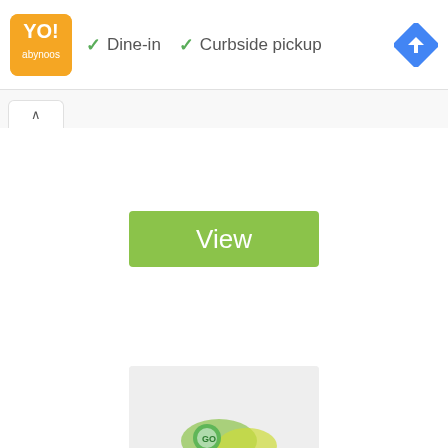[Figure (screenshot): Restaurant listing header with orange logo, dine-in and curbside pickup checkmarks, and a blue diamond navigation icon]
✓ Dine-in   ✓ Curbside pickup
[Figure (screenshot): Green View button centered on white background]
[Figure (photo): Product image at bottom of page, partially visible, showing colorful packaged food items]